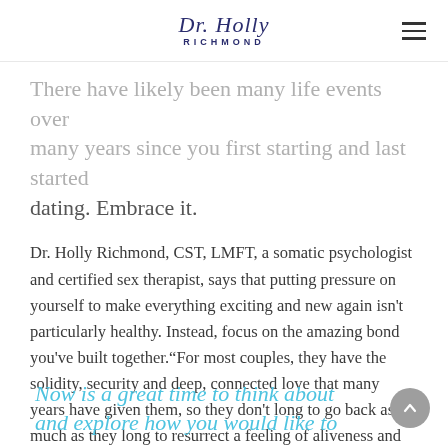Dr. Holly Richmond
There have likely been many life events over many years since you first starting and last started dating. Embrace it.
Dr. Holly Richmond, CST, LMFT, a somatic psychologist and certified sex therapist, says that putting pressure on yourself to make everything exciting and new again isn't particularly healthy. Instead, focus on the amazing bond you've built together.“For most couples, they have the solidity, security and deep, connected love that many years have given them, so they don't long to go back as much as they long to resurrect a feeling of aliveness and passion,” she says.
Now is a great time to think about and explore how you would like to